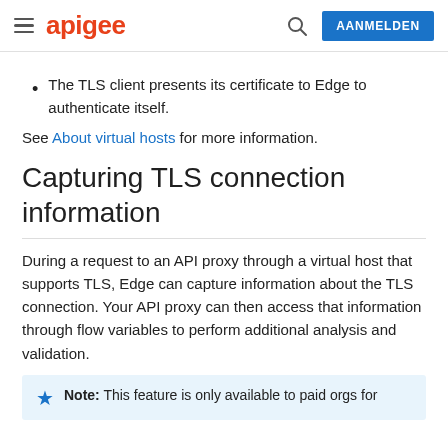apigee | AANMELDEN
The TLS client presents its certificate to Edge to authenticate itself.
See About virtual hosts for more information.
Capturing TLS connection information
During a request to an API proxy through a virtual host that supports TLS, Edge can capture information about the TLS connection. Your API proxy can then access that information through flow variables to perform additional analysis and validation.
Note: This feature is only available to paid orgs for